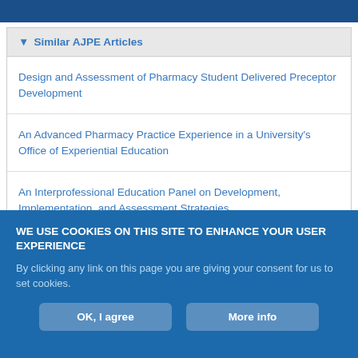Similar AJPE Articles
Design and Assessment of Pharmacy Student Delivered Preceptor Development
An Advanced Pharmacy Practice Experience in a University's Office of Experiential Education
An Interprofessional Education Panel on Development, Implementation, and Assessment Strategies
WE USE COOKIES ON THIS SITE TO ENHANCE YOUR USER EXPERIENCE
By clicking any link on this page you are giving your consent for us to set cookies.
OK, I agree | More info